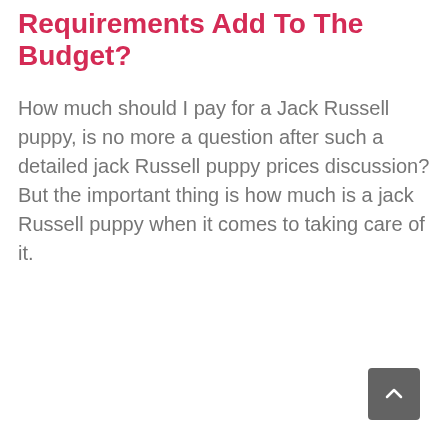Requirements Add To The Budget?
How much should I pay for a Jack Russell puppy, is no more a question after such a detailed jack Russell puppy prices discussion? But the important thing is how much is a jack Russell puppy when it comes to taking care of it.